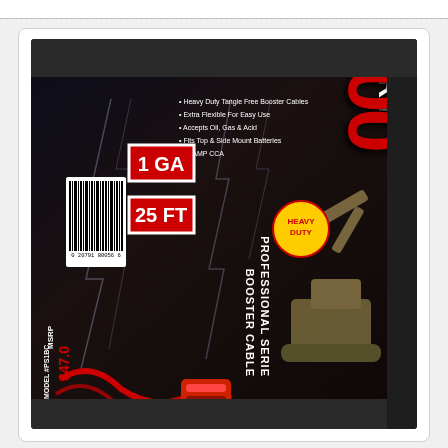[Figure (photo): Photo of a Pro-Start 1000 Heavy Duty Professional Series Booster Cable package (1 GA, 25 FT, 900 AMP CCA) lying on a dark fabric surface. The package is dark with red and white text. A barcode sticker is visible (0 20791 80056 6). MSRP $47.0_ and MODEL #PS1BC are partially visible.]